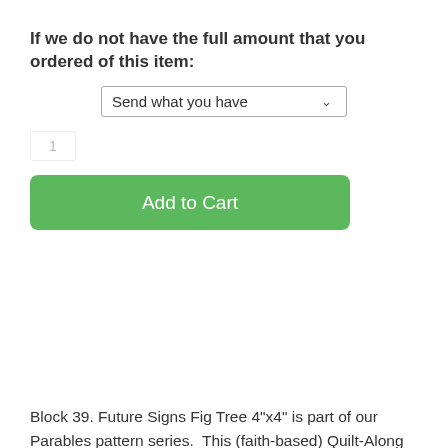If we do not have the full amount that you ordered of this item:
[Figure (screenshot): A dropdown selector showing 'Send what you have' with a dropdown arrow]
[Figure (screenshot): A green 'Add to Cart' button]
Block 39. Future Signs Fig Tree 4"x4" is part of our Parables pattern series.  This (faith-based) Quilt-Along began March 2021 & concludes April 2022.
This electronic PDF pattern download includes the full pattern for the block, as well as a devotional message and place for personal reflection.  The step by step instructional